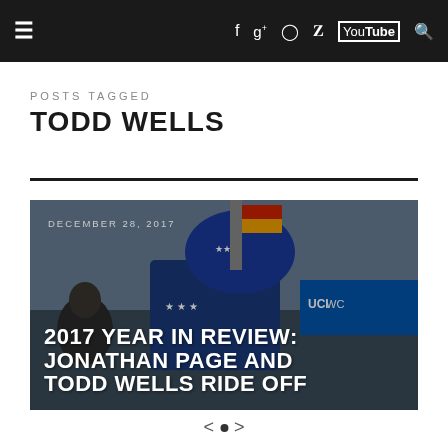≡  f  g+  ◎  🐦  YouTube  🔍
POSTS TAGGED
TODD WELLS
[Figure (photo): Cycling photo of a rider wearing a star-spangled helmet at a UCI cyclocross event. White overlay text shows date and article title.]
DECEMBER 28, 2017 — 2017 YEAR IN REVIEW: JONATHAN PAGE AND TODD WELLS RIDE OFF